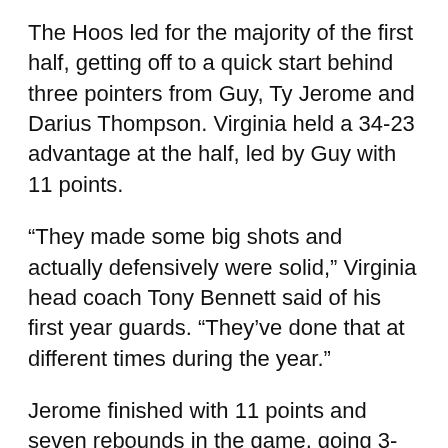The Hoos led for the majority of the first half, getting off to a quick start behind three pointers from Guy, Ty Jerome and Darius Thompson. Virginia held a 34-23 advantage at the half, led by Guy with 11 points.
“They made some big shots and actually defensively were solid,” Virginia head coach Tony Bennett said of his first year guards. “They’ve done that at different times during the year.”
Jerome finished with 11 points and seven rebounds in the game, going 3-for-6 from three.
In a great showing of sharing the ball, the Hoos assisted 10 of 13 first half buckets, led by Jerome with four assists and no turnovers. From the floor, Virginia shot 46% from the field and 50% from three while